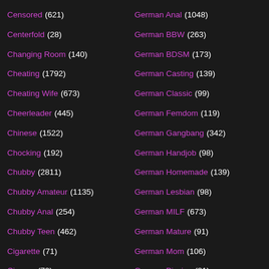Censored (621)
Centerfold (28)
Changing Room (140)
Cheating (1792)
Cheating Wife (673)
Cheerleader (445)
Chinese (1522)
Chocking (192)
Chubby (2811)
Chubby Amateur (1135)
Chubby Anal (254)
Chubby Teen (462)
Cigarette (71)
Cinema (70)
Classic (928)
Classroom (136)
German Anal (1048)
German BBW (263)
German BDSM (173)
German Casting (139)
German Classic (99)
German Femdom (119)
German Gangbang (342)
German Handjob (98)
German Homemade (139)
German Lesbian (98)
German MILF (673)
German Mature (91)
German Mom (106)
German Pissing (81)
German Swinger (117)
German Teen (882)